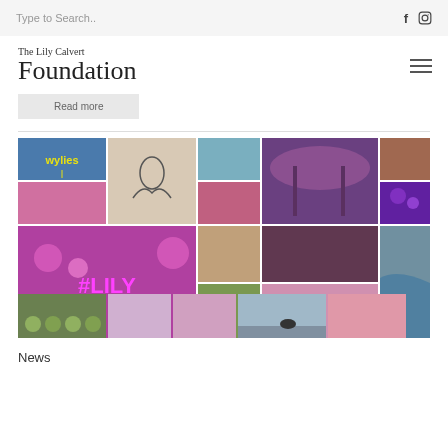Type to Search..
The Lily Calvert Foundation
Read more
[Figure (photo): Photo mosaic collage of event photos including Wylie's venue sign, line art drawing, tent interior, floral arch, group photo, purple flowers, pink balloon crowd, women at event, ocean view, #LILY neon sign with balloons, food displays, and various event moments.]
News